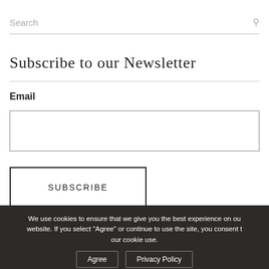Search
Subscribe to our Newsletter
Email
SUBSCRIBE
We use cookies to ensure that we give you the best experience on our website. If you select "Agree" or continue to use the site, you consent to our cookie use.
Agree   Privacy Policy